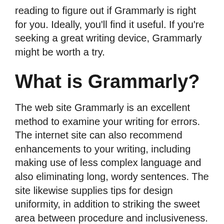reading to figure out if Grammarly is right for you. Ideally, you'll find it useful. If you're seeking a great writing device, Grammarly might be worth a try.
What is Grammarly?
The web site Grammarly is an excellent method to examine your writing for errors. The internet site can also recommend enhancements to your writing, including making use of less complex language and also eliminating long, wordy sentences. The site likewise supplies tips for design uniformity, in addition to striking the sweet area between procedure and inclusiveness. While Grammarly is a great tool for boosting your writing, it must never be made use of